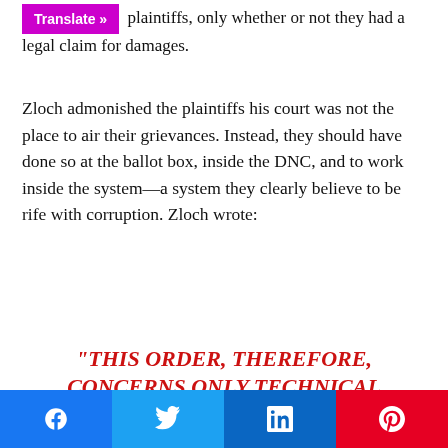plaintiffs, only whether or not they had a legal claim for damages.
Zloch admonished the plaintiffs his court was not the place to air their grievances. Instead, they should have done so at the ballot box, inside the DNC, and to work inside the system—a system they clearly believe to be rife with corruption. Zloch wrote:
“THIS ORDER, THEREFORE, CONCERNS ONLY TECHNICAL MATTERS OF PLEADING AND SUBJECT–MATTER JURISDICTION. TO THE EXTENT PLAINTIFFS WISH TO AIR THEIR GENERAL.
Facebook Twitter LinkedIn Pinterest